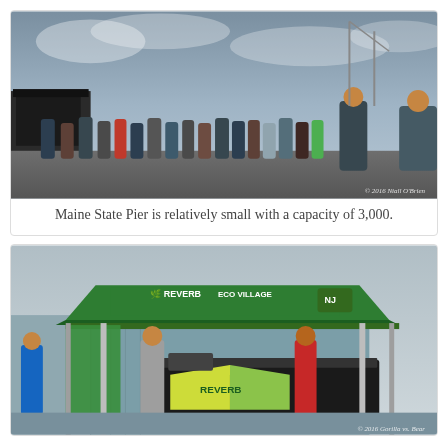[Figure (photo): Crowd of people at Maine State Pier outdoor concert venue with stage visible in background, overcast sky]
Maine State Pier is relatively small with a capacity of 3,000.
[Figure (photo): Reverb Eco Village booth/tent at outdoor festival with staff and visitors, green canopy with Reverb logo and branding]